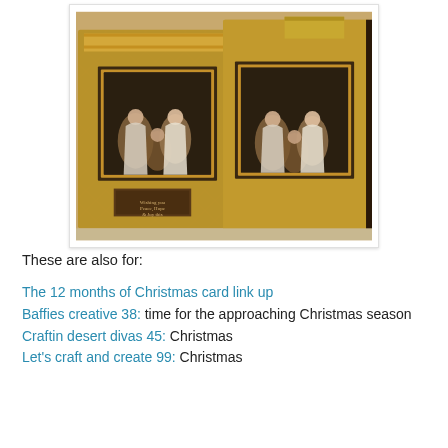[Figure (photo): Two handmade Christmas greeting cards with gold patterned backgrounds and nativity scene images in the center, displayed standing upright on a surface.]
These are also for:
The 12 months of Christmas card link up
Baffies creative 38: time for the approaching Christmas season
Craftin desert divas 45: Christmas
Let's craft and create 99: Christmas